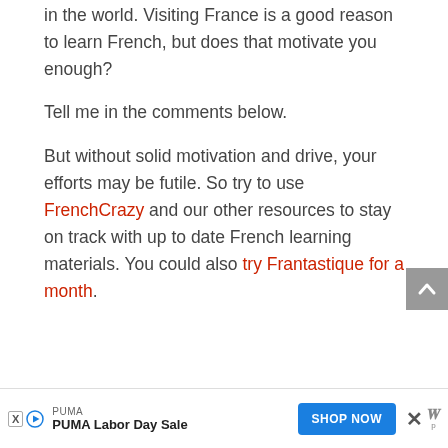in the world. Visiting France is a good reason to learn French, but does that motivate you enough?
Tell me in the comments below.
But without solid motivation and drive, your efforts may be futile. So try to use FrenchCrazy and our other resources to stay on track with up to date French learning materials. You could also try Frantastique for a month.